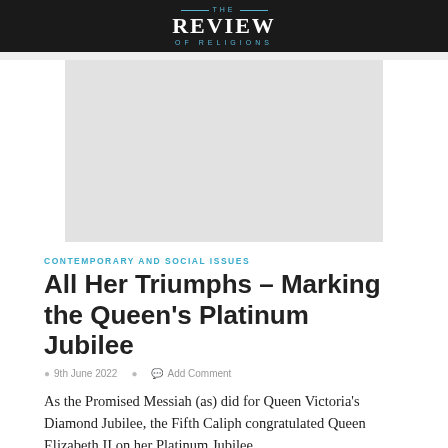THE REVIEW OF RELIGIONS
[Figure (photo): Large image placeholder (light gray rectangle) at top of article]
CONTEMPORARY AND SOCIAL ISSUES
All Her Triumphs – Marking the Queen's Platinum Jubilee
9th June 2022   Add Comment
As the Promised Messiah (as) did for Queen Victoria's Diamond Jubilee, the Fifth Caliph congratulated Queen Elizabeth II on her Platinum Jubilee